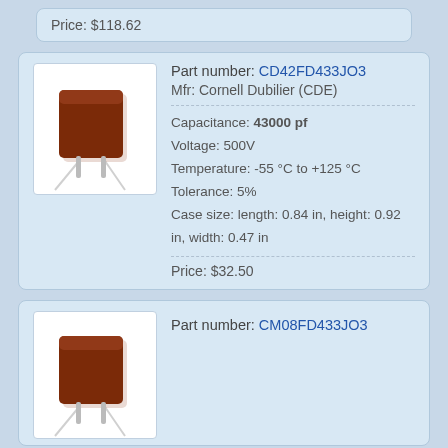Price: $118.62
[Figure (photo): Capacitor component - brown rectangular body with two metal leads]
Part number: CD42FD433JO3
Mfr: Cornell Dubilier (CDE)
Capacitance: 43000 pf
Voltage: 500V
Temperature: -55 °C to +125 °C
Tolerance: 5%
Case size: length: 0.84 in, height: 0.92 in, width: 0.47 in
Price: $32.50
[Figure (photo): Capacitor component - brown rectangular body with two metal leads]
Part number: CM08FD433JO3